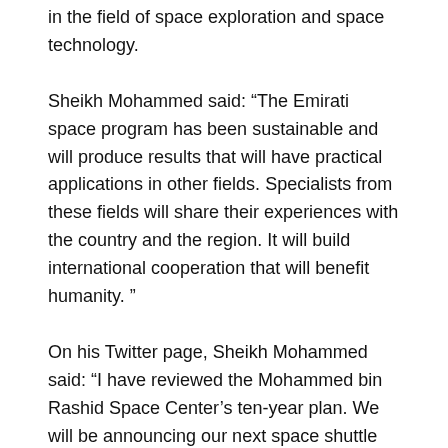in the field of space exploration and space technology.
Sheikh Mohammed said: “The Emirati space program has been sustainable and will produce results that will have practical applications in other fields. Specialists from these fields will share their experiences with the country and the region. It will build international cooperation that will benefit humanity.”
On his Twitter page, Sheikh Mohammed said: “I have reviewed the Mohammed bin Rashid Space Center’s ten-year plan. We will be announcing our next space shuttle soon and will launch special satellite upgrade programs. The space center simulator, and other educational programs, will help provide training in this field”.
“Our sustainable space programs will advance all our other sectors and build new skills. We will share our expertise